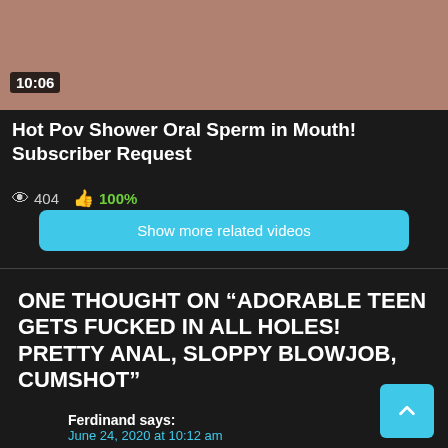[Figure (photo): Video thumbnail showing a close-up skin tone image, adult content]
10:06
Hot Pov Shower Oral Sperm in Mouth! Subscriber Request
404  100%
Show more related videos
ONE THOUGHT ON “ADORABLE TEEN GETS FUCKED IN ALL HOLES! PRETTY ANAL, SLOPPY BLOWJOB, CUMSHOT”
Ferdinand says:
June 24, 2020 at 10:12 am